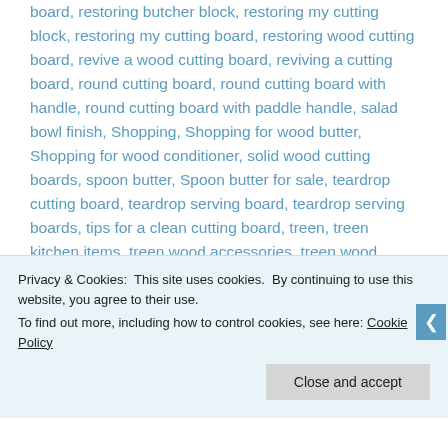board, restoring butcher block, restoring my cutting block, restoring my cutting board, restoring wood cutting board, revive a wood cutting board, reviving a cutting board, round cutting board, round cutting board with handle, round cutting board with paddle handle, salad bowl finish, Shopping, Shopping for wood butter, Shopping for wood conditioner, solid wood cutting boards, spoon butter, Spoon butter for sale, teardrop cutting board, teardrop serving board, teardrop serving boards, tips for a clean cutting board, treen, treen kitchen items, treen wood accessories, treen wood conditioner, wood balm, wood beeswax, wood butcher block, wood butter, Wood butter for sale, wood care products, wood chopping block, wood cleaning, Wood conditioner, wood conditioner for cutting board, Wood conditioner for sale, wood conditioning paste, Wood cutting board, wood cutting board...
Privacy & Cookies: This site uses cookies. By continuing to use this website, you agree to their use.
To find out more, including how to control cookies, see here: Cookie Policy